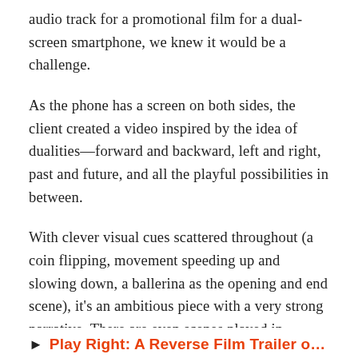audio track for a promotional film for a dual-screen smartphone, we knew it would be a challenge.
As the phone has a screen on both sides, the client created a video inspired by the idea of dualities—forward and backward, left and right, past and future, and all the playful possibilities in between.
With clever visual cues scattered throughout (a coin flipping, movement speeding up and slowing down, a ballerina as the opening and end scene), it's an ambitious piece with a very strong narrative. There are even scenes played in reverse, further highlighting the strong conceptual approach guiding the action.
▶ Play Right: A Reverse Film Trailer on Vimeo